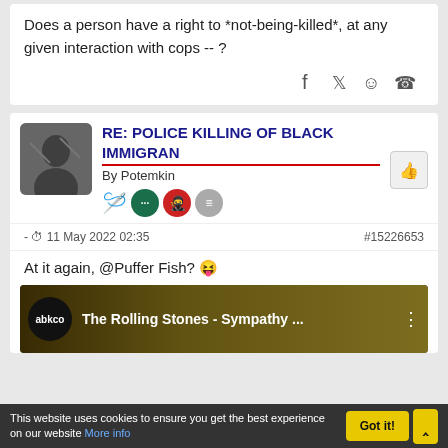Does a person have a right to *not-being-killed*, at any given interaction with cops -- ?
[Figure (other): Social share icons: Facebook, Twitter, Reddit, WhatsApp]
RE: POLICE KILLING OF BLACK IMMIGRANTS
By Potemkin
[Figure (other): User avatar - black and white photo]
[Figure (other): User badges: tie icon, green dots badge, red ninja badge, gray list badge]
- 11 May 2022 02:35
#15226653
At it again, @Puffer Fish? 😝
[Figure (screenshot): YouTube video thumbnail: abkco - The Rolling Stones - Sympathy ...]
This website uses cookies to ensure you get the best experience on our website More info